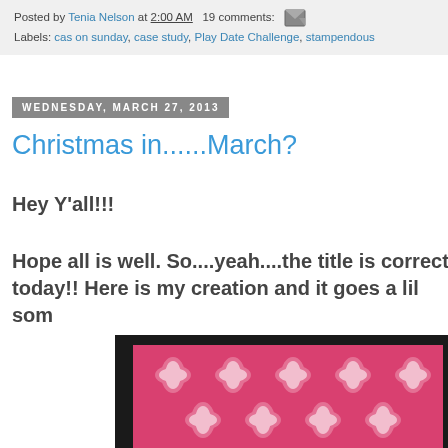Posted by Tenia Nelson at 2:00 AM   19 comments:  [email icon]
Labels: cas on sunday, case study, Play Date Challenge, stampendous
WEDNESDAY, MARCH 27, 2013
Christmas in......March?
Hey Y'all!!!
Hope all is well. So....yeah....the title is correct today!! Here is my creation and it goes a lil som
[Figure (photo): A craft card with black border and pink damask patterned paper visible in corner]